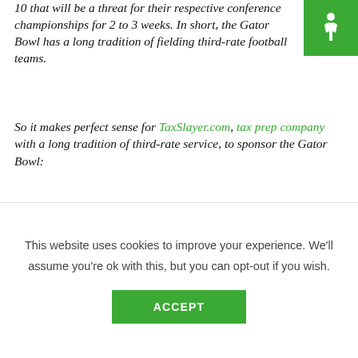10 that will be a threat for their respective conference championships for 2 to 3 weeks. In short, the Gator Bowl has a long tradition of fielding third-rate football teams.
[Figure (logo): Green square logo with white accessibility/person icon]
So it makes perfect sense for TaxSlayer.com, tax prep company with a long tradition of third-rate service, to sponsor the Gator Bowl:
The Evans, Ga-based company announced a multi-year partnership Thursday with the Gator Bowl Association and the fact that it was named a new "title sponsor" of the bowl, starting with the 2012 Gator Bowl in Jacksonville, Fla., on Jan. 2.[...] TaxSlayer may not have the same name recognition as TurboTax or TaxAct, but it comes out of a tax prep business that dates back 40 years.
This website uses cookies to improve your experience. We'll assume you're ok with this, but you can opt-out if you wish.
ACCEPT